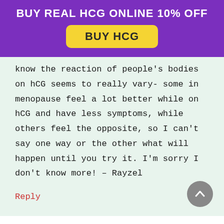BUY REAL HCG ONLINE 10% OFF
[Figure (other): Yellow button with text BUY HCG on purple banner]
know the reaction of people's bodies on hCG seems to really vary- some in menopause feel a lot better while on hCG and have less symptoms, while others feel the opposite, so I can't say one way or the other what will happen until you try it. I'm sorry I don't know more! – Rayzel
Reply